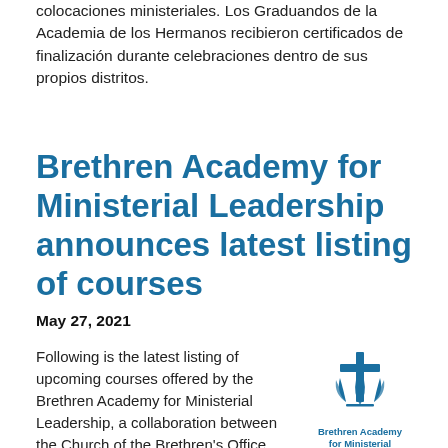colocaciones ministeriales. Los Graduandos de la Academia de los Hermanos recibieron certificados de finalización durante celebraciones dentro de sus propios distritos.
Brethren Academy for Ministerial Leadership announces latest listing of courses
May 27, 2021
Following is the latest listing of upcoming courses offered by the Brethren Academy for Ministerial Leadership, a collaboration between the Church of the Brethren's Office of Ministry and Bethany Theological...
[Figure (logo): Brethren Academy for Ministerial Leadership logo — a stylized cross with wheat/flame shapes and the organization name below]